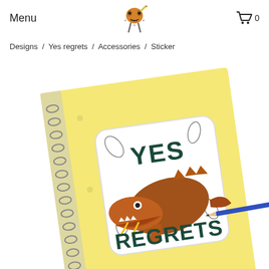Menu
[Figure (logo): Cartoon character logo - orange skull-like creature with pencil]
[Figure (illustration): Shopping cart icon with number 0]
Designs / Yes regrets / Accessories / Sticker
[Figure (photo): Yellow spiral notebook with a sticker showing a crocodile/dinosaur and text YES REGRETS in dark teal bold font, with a blue pencil on the right side]